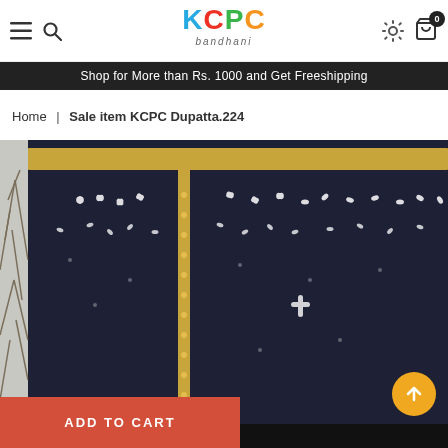KCPC Bandhani — navigation header with hamburger menu, search icon, logo, settings icon, cart icon with badge 0
Shop for More than Rs. 1000 and Get Freeshipping
Home | Sale item KCPC Dupatta.224
[Figure (photo): Close-up photo of a dark navy blue bandhani dupatta with white tie-dye floral patterns and gold border trim]
ADD TO CART